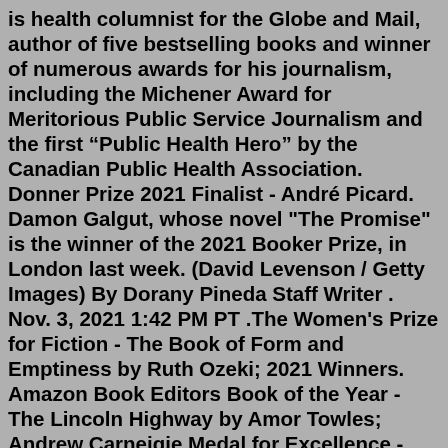is health columnist for the Globe and Mail, author of five bestselling books and winner of numerous awards for his journalism, including the Michener Award for Meritorious Public Service Journalism and the first “Public Health Hero” by the Canadian Public Health Association. Donner Prize 2021 Finalist - André Picard. Damon Galgut, whose novel "The Promise" is the winner of the 2021 Booker Prize, in London last week. (David Levenson / Getty Images) By Dorany Pineda Staff Writer . Nov. 3, 2021 1:42 PM PT .The Women's Prize for Fiction - The Book of Form and Emptiness by Ruth Ozeki; 2021 Winners. Amazon Book Editors Book of the Year - The Lincoln Highway by Amor Towles; Andrew Carneigie Medal for Excellence - Deacon King Kong by James McBride and Fathoms: The World in the Whale by Rebecca GiggsOct 18, 2021 · The American Historical Association is pleased to announce the winners of its 2021 prizes, to be awarded at the AHA’s 135th annual meeting, which will take place in New Orleans from January 6–9, 2022. The AHA offers annual prizes...